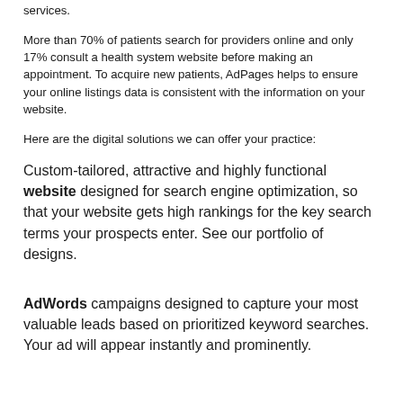services.
More than 70% of patients search for providers online and only 17% consult a health system website before making an appointment. To acquire new patients, AdPages helps to ensure your online listings data is consistent with the information on your website.
Here are the digital solutions we can offer your practice:
Custom-tailored, attractive and highly functional website designed for search engine optimization, so that your website gets high rankings for the key search terms your prospects enter. See our portfolio of designs.
AdWords campaigns designed to capture your most valuable leads based on prioritized keyword searches. Your ad will appear instantly and prominently.